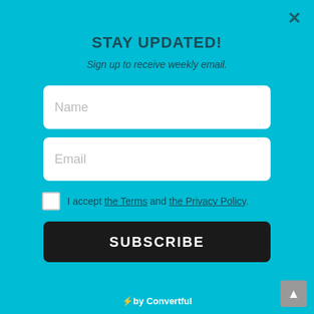STAY UPDATED!
Sign up to receive weekly email.
Name
Email
I accept the Terms and the Privacy Policy.
SUBSCRIBE
the button. It has a one handed push button to turn it on / off with 3 speed options. Just pla...
Via Amazon
CHECK IT OUT
[Figure (screenshot): Convertful popup badge at bottom of modal]
⚡ by Convertful